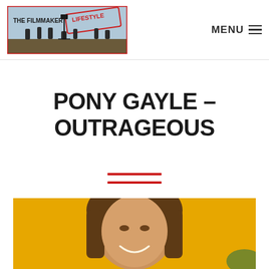THE FILMMAKER LIFESTYLE — MENU
PONY GAYLE – OUTRAGEOUS
[Figure (photo): Close-up portrait of a smiling woman with long brown hair against a yellow background]